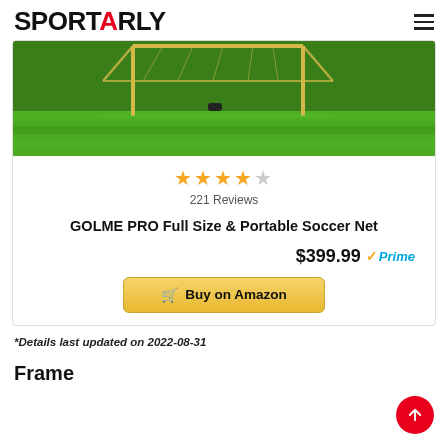SPORTARLY
[Figure (photo): Soccer goal net on a green grass field, photographed from inside the goal looking out]
221 Reviews
GOLME PRO Full Size & Portable Soccer Net
$399.99 Prime
Buy on Amazon
*Details last updated on 2022-08-31
Frame